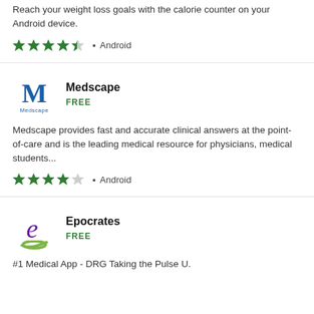Reach your weight loss goals with the calorie counter on your Android device.
[Figure (other): 4.5 star rating, Android platform label]
[Figure (logo): Medscape app logo - blue M with Medscape text]
Medscape
FREE
Medscape provides fast and accurate clinical answers at the point-of-care and is the leading medical resource for physicians, medical students...
[Figure (other): 4 star rating, Android platform label]
[Figure (logo): Epocrates app logo - purple e with green swoosh]
Epocrates
FREE
#1 Medical App - DRG Taking the Pulse U.